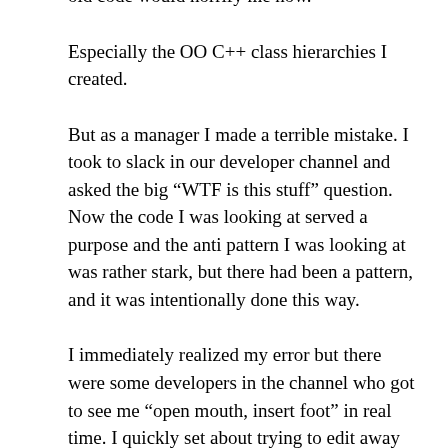old code would horrify me now.
Especially the OO C++ class hierarchies I created.
But as a manager I made a terrible mistake. I took to slack in our developer channel and asked the big “WTF is this stuff” question. Now the code I was looking at served a purpose and the anti pattern I was looking at was rather stark, but there had been a pattern, and it was intentionally done this way.
I immediately realized my error but there were some developers in the channel who got to see me “open mouth, insert foot” in real time. I quickly set about trying to edit away my comments and ask some actually useful questions instead of code shaming whichever author had written the code. Talk about awkward.
The next day at least one or two developers mentioned